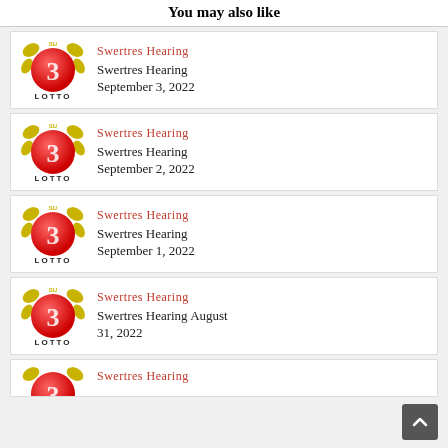You may also like
Swertres Hearing | Swertres Hearing September 3, 2022
Swertres Hearing | Swertres Hearing September 2, 2022
Swertres Hearing | Swertres Hearing September 1, 2022
Swertres Hearing | Swertres Hearing August 31, 2022
Swertres Hearing